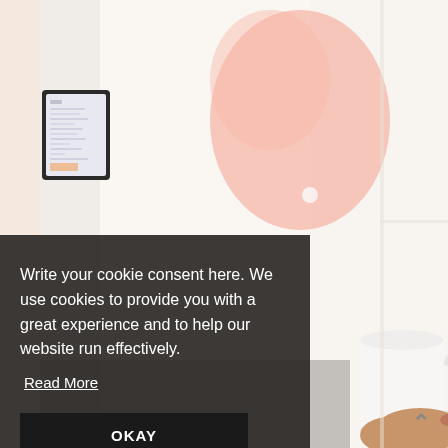[Figure (photo): Background photo of a person holding a white mug with a tablet/laptop visible on the left, soft peach/pink tones, light background]
Write your cookie consent here. We use cookies to provide you with a great experience and to help our website run effectively.
Read More
OKAY
^